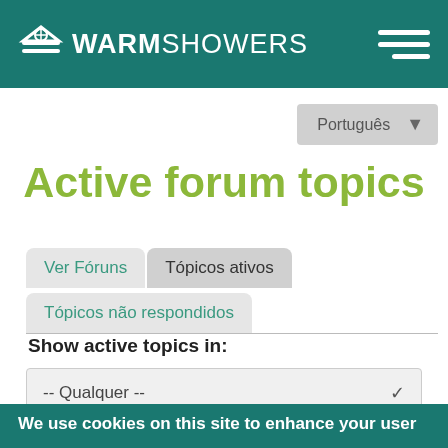WARM SHOWERS
Português
Active forum topics
Ver Fóruns  Tópicos ativos  Tópicos não respondidos
Show active topics in:
-- Qualquer --
We use cookies on this site to enhance your user experience